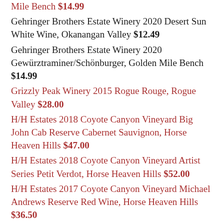Mile Bench $14.99
Gehringer Brothers Estate Winery 2020 Desert Sun White Wine, Okanangan Valley $12.49
Gehringer Brothers Estate Winery 2020 Gewürztraminer/Schönburger, Golden Mile Bench $14.99
Grizzly Peak Winery 2015 Rogue Rouge, Rogue Valley $28.00
H/H Estates 2018 Coyote Canyon Vineyard Big John Cab Reserve Cabernet Sauvignon, Horse Heaven Hills $47.00
H/H Estates 2018 Coyote Canyon Vineyard Artist Series Petit Verdot, Horse Heaven Hills $52.00
H/H Estates 2017 Coyote Canyon Vineyard Michael Andrews Reserve Red Wine, Horse Heaven Hills $36.50
Hat Ranch Winery 2018 Malbec, Snake River Valley $29.95
Hat Ranch Winery 2018 Hat Trick Red, Snake River